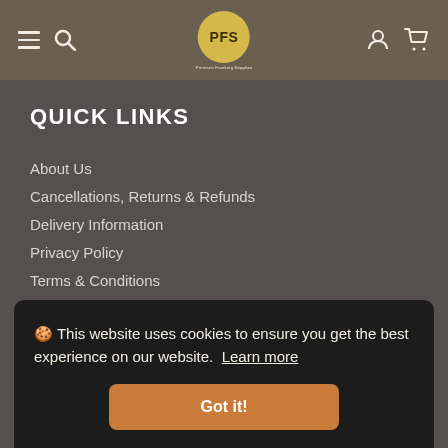PFS navigation bar with hamburger menu, search icon, logo, user icon, and cart icon
QUICK LINKS
About Us
Cancellations, Returns & Refunds
Delivery Information
Privacy Policy
Terms & Conditions
Contact Us
OUR SHOP
Pitney Bowes
Neopost
🍪 This website uses cookies to ensure you get the best experience on our website. Learn more Got it!